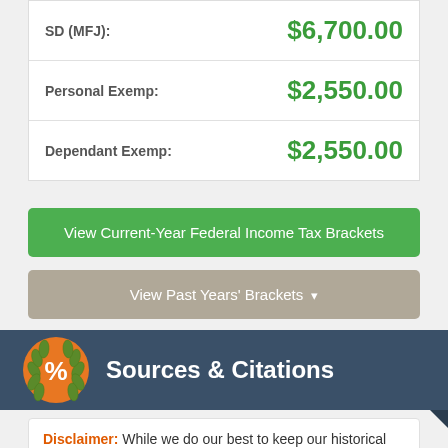| Label | Amount |
| --- | --- |
| SD (MFJ): | $6,700.00 |
| Personal Exemp: | $2,550.00 |
| Dependant Exemp: | $2,550.00 |
View Current-Year Federal Income Tax Brackets
View Past Years' Brackets ▾
Sources & Citations
Disclaimer: While we do our best to keep our historical Federal income tax rates up to date and complete, we cannot be held liable for errors or